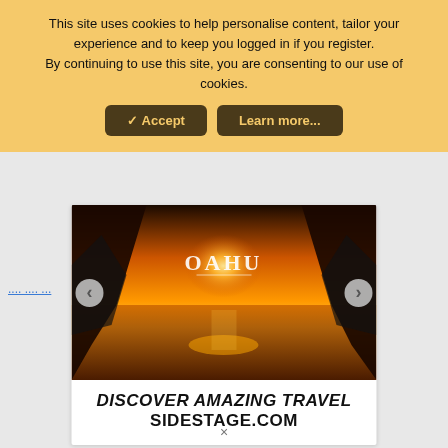This site uses cookies to help personalise content, tailor your experience and to keep you logged in if you register. By continuing to use this site, you are consenting to our use of cookies.
✓ Accept
Learn more...
[Figure (photo): Sunset photo through rocky cliffs over the ocean with 'OAHU' text overlay]
DISCOVER AMAZING TRAVEL SIDESTAGE.COM
...